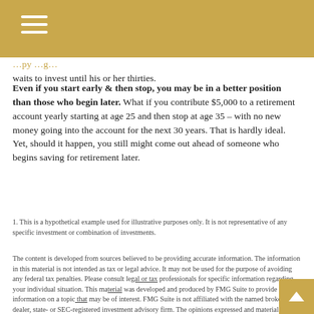waits to invest until his or her thirties.
Even if you start early & then stop, you may be in a better position than those who begin later. What if you contribute $5,000 to a retirement account yearly starting at age 25 and then stop at age 35 – with no new money going into the account for the next 30 years. That is hardly ideal. Yet, should it happen, you still might come out ahead of someone who begins saving for retirement later.
1. This is a hypothetical example used for illustrative purposes only. It is not representative of any specific investment or combination of investments.
The content is developed from sources believed to be providing accurate information. The information in this material is not intended as tax or legal advice. It may not be used for the purpose of avoiding any federal tax penalties. Please consult legal or tax professionals for specific information regarding your individual situation. This material was developed and produced by FMG Suite to provide information on a topic that may be of interest. FMG Suite is not affiliated with the named broker-dealer, state- or SEC-registered investment advisory firm. The opinions expressed and material